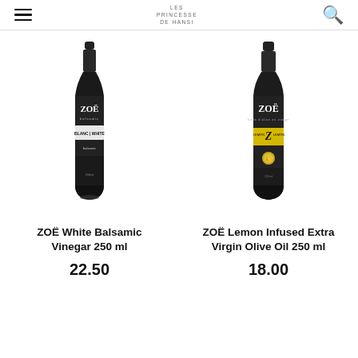Navigation header with hamburger menu, logo, and search icon
[Figure (photo): ZOE White Balsamic Vinegar 250ml bottle — dark glass bottle with black label featuring ZOE branding and white/blanc label stripe]
ZOË White Balsamic Vinegar 250 ml
22.50
[Figure (photo): ZOE Lemon Infused Extra Virgin Olive Oil 250ml bottle — dark glass bottle with black label, yellow lemon Z stripe and lemon graphic]
ZOË Lemon Infused Extra Virgin Olive Oil 250 ml
18.00